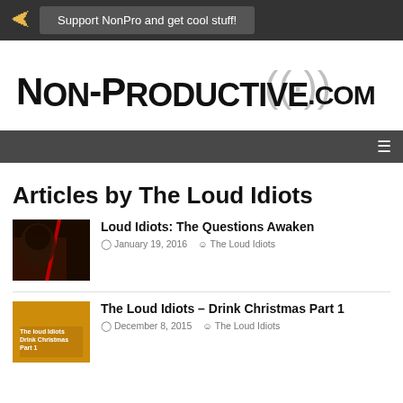Support NonPro and get cool stuff!
[Figure (logo): Non-Productive.com logo with radio signal icon]
Articles by The Loud Idiots
[Figure (photo): Dark image of a helmeted figure with red lightsaber (Star Wars themed)]
Loud Idiots: The Questions Awaken
January 19, 2016   The Loud Idiots
[Figure (photo): Yellow/orange beer glass photo with text overlay: The Loud Idiots Drink Christmas Part 1]
The Loud Idiots – Drink Christmas Part 1
December 8, 2015   The Loud Idiots